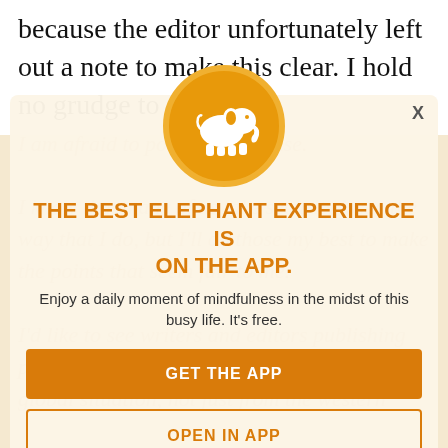because the editor unfortunately left out a note to make this clear. I hold no grudge to
[Figure (infographic): App promotion modal overlay with elephant logo on orange circle, headline 'THE BEST ELEPHANT EXPERIENCE IS ON THE APP.', subtitle text, and two buttons: GET THE APP and OPEN IN APP]
THE BEST ELEPHANT EXPERIENCE IS ON THE APP.
Enjoy a daily moment of mindfulness in the midst of this busy life. It's free.
GET THE APP
OPEN IN APP